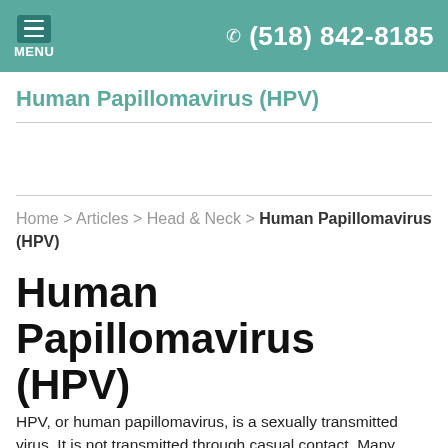MENU  (518) 842-8185
Human Papillomavirus (HPV)
Home > Articles > Head & Neck > Human Papillomavirus (HPV)
Human Papillomavirus (HPV)
HPV, or human papillomavirus, is a sexually transmitted virus. It is not transmitted through casual contact. Many different